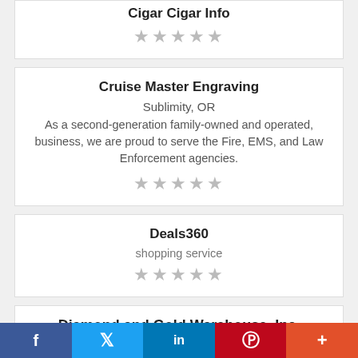Cigar Cigar Info
★★★★★
Cruise Master Engraving
Sublimity, OR
As a second-generation family-owned and operated, business, we are proud to serve the Fire, EMS, and Law Enforcement agencies.
★★★★★
Deals360
shopping service
★★★★★
Diamond and Gold Warehouse, Inc.
Dallas, TX
f  𝕏  in  P  +